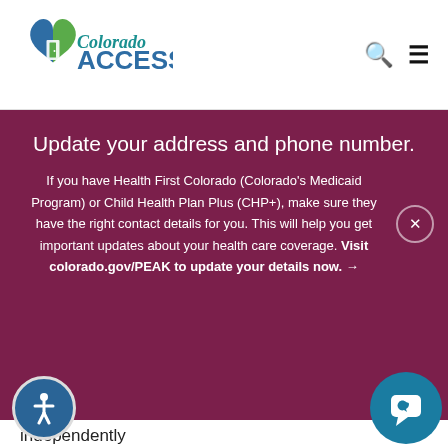Colorado ACCESS
Update your address and phone number.
If you have Health First Colorado (Colorado's Medicaid Program) or Child Health Plan Plus (CHP+), make sure they have the right contact details for you. This will help you get important updates about your health care coverage. Visit colorado.gov/PEAK to update your details now. →
independently
How is dementia diagnosed?
A health care provider can perform tests attention, memory, problem solving and